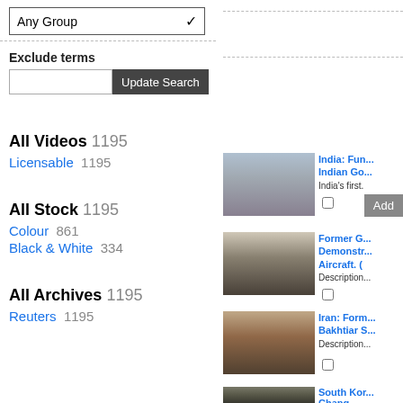Any Group (dropdown)
Exclude terms
Update Search
All Videos 1195
Licensable   1195
All Stock 1195
Colour   861
Black & White   334
All Archives 1195
Reuters   1195
[Figure (screenshot): Thumbnail of India: Fun... Indian Go... India's first...]
India: Fun... Indian Go... India's first.
[Figure (screenshot): Thumbnail of Former G... Demonstr... Aircraft. (... Description...]
Former G... Demonstr... Aircraft. (... Description...
[Figure (screenshot): Thumbnail of Iran: Form... Bakhtiar S... Description...]
Iran: Form... Bakhtiar S... Description...
[Figure (screenshot): Thumbnail of South Kor... Chang...]